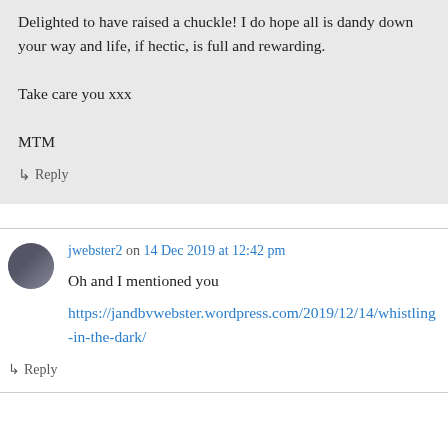Delighted to have raised a chuckle! I do hope all is dandy down your way and life, if hectic, is full and rewarding.

Take care you xxx

MTM
↳ Reply
jwebster2 on 14 Dec 2019 at 12:42 pm
Oh and I mentioned you
https://jandbvwebster.wordpress.com/2019/12/14/whistling-in-the-dark/
↳ Reply